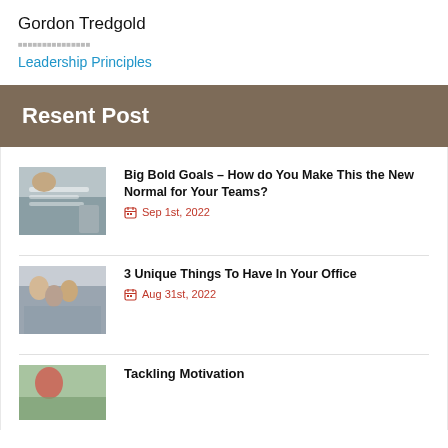Gordon Tredgold
Leadership Principles
Resent Post
[Figure (photo): Person writing at a desk with papers]
Big Bold Goals – How do You Make This the New Normal for Your Teams?
Sep 1st, 2022
[Figure (photo): Group of people in an office meeting]
3 Unique Things To Have In Your Office
Aug 31st, 2022
[Figure (photo): Person with red hair in office setting]
Tackling Motivation